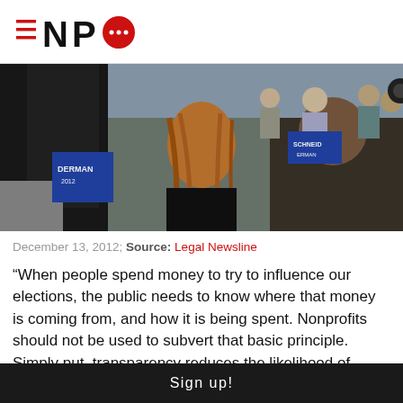NPQ (Nonprofit Quarterly) logo
[Figure (photo): Outdoor scene showing a woman with long auburn hair in a black top, a man in a dark suit, and other people in the background at what appears to be a public gathering or political event. A campaign sign partially visible on the left reads 'DERMAN'.]
December 13, 2012; Source: Legal Newsline
“When people spend money to try to influence our elections, the public needs to know where that money is coming from, and how it is being spent. Nonprofits should not be used to subvert that basic principle. Simply put, transparency reduces the likelihood of
Sign up!